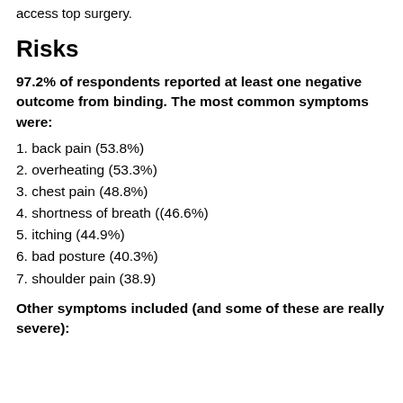access top surgery.
Risks
97.2% of respondents reported at least one negative outcome from binding.  The most common symptoms were:
1. back pain (53.8%)
2. overheating (53.3%)
3. chest pain (48.8%)
4. shortness of breath ((46.6%)
5. itching (44.9%)
6. bad posture (40.3%)
7. shoulder pain (38.9)
Other symptoms included (and some of these are really severe):